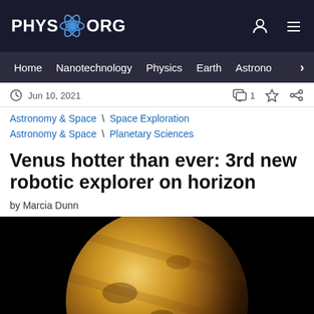PHYS.ORG | Home Nanotechnology Physics Earth Astronomy
Jun 10, 2021
Astronomy & Space \ Space Exploration
Astronomy & Space \ Planetary Sciences
Venus hotter than ever: 3rd new robotic explorer on horizon
by Marcia Dunn
[Figure (photo): Image of Venus showing the planet's surface features in orange and brown tones against a black background]